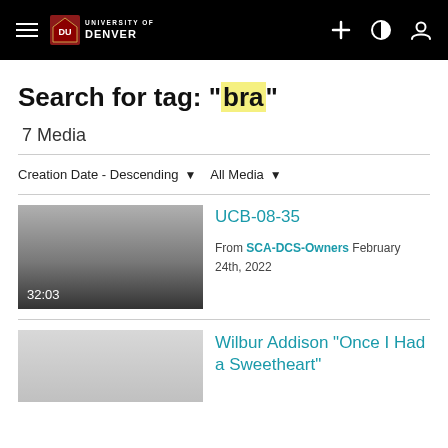University of Denver navigation bar
Search for tag: "bra"
7 Media
Creation Date - Descending   All Media
UCB-08-35
From SCA-DCS-Owners February 24th, 2022
32:03
Wilbur Addison "Once I Had a Sweetheart"